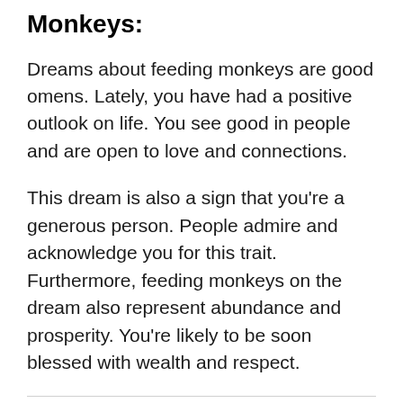Monkeys:
Dreams about feeding monkeys are good omens. Lately, you have had a positive outlook on life. You see good in people and are open to love and connections.
This dream is also a sign that you’re a generous person. People admire and acknowledge you for this trait. Furthermore, feeding monkeys on the dream also represent abundance and prosperity. You’re likely to be soon blessed with wealth and respect.
2.  Dreaming About Being Chased By Monkeys: